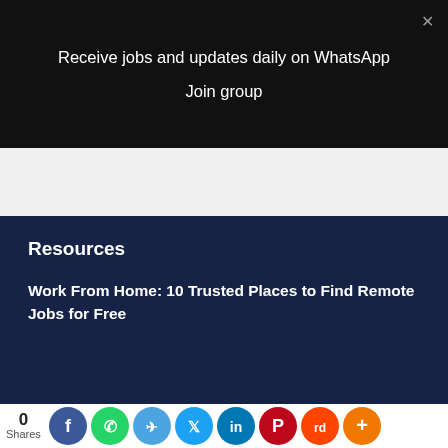Receive jobs and updates daily on WhatsApp
Join group
Resources
Work From Home: 10 Trusted Places to Find Remote Jobs for Free
0 Shares